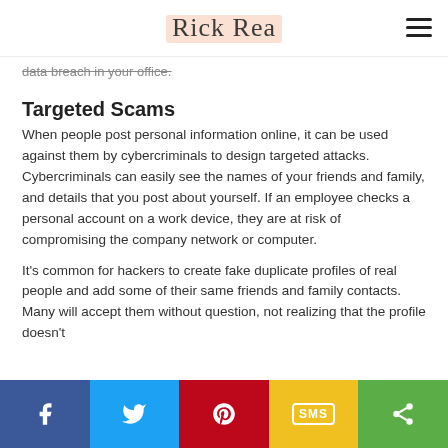Rick Rea
data breach in your office.
Targeted Scams
When people post personal information online, it can be used against them by cybercriminals to design targeted attacks. Cybercriminals can easily see the names of your friends and family, and details that you post about yourself. If an employee checks a personal account on a work device, they are at risk of compromising the company network or computer.
It's common for hackers to create fake duplicate profiles of real people and add some of their same friends and family contacts. Many will accept them without question, not realizing that the profile doesn't